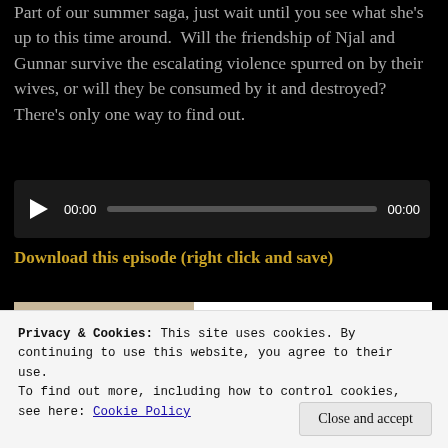Part of our summer saga, just wait until you see what she's up to this time around.  Will the friendship of Njal and Gunnar survive the escalating violence spurred on by their wives, or will they be consumed by it and destroyed?  There's only one way to find out.
[Figure (other): Audio player widget with play button, time display 00:00, progress bar, and end time 00:00 on dark background]
Download this episode (right click and save)
[Figure (other): Preview area showing a person in white t-shirt on left, and 5-star reviews text with 5 black stars on white background on right]
Privacy & Cookies: This site uses cookies. By continuing to use this website, you agree to their use.
To find out more, including how to control cookies, see here: Cookie Policy